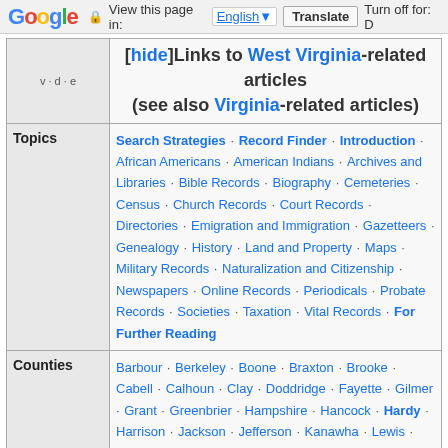Google | View this page in: English | Translate | Turn off for: D
| v·d·e | [hide]Links to West Virginia-related articles (see also Virginia-related articles) |
| --- | --- |
| Topics | Search Strategies · Record Finder · Introduction · African Americans · American Indians · Archives and Libraries · Bible Records · Biography · Cemeteries · Census · Church Records · Court Records · Directories · Emigration and Immigration · Gazetteers · Genealogy · History · Land and Property · Maps · Military Records · Naturalization and Citizenship · Newspapers · Online Records · Periodicals · Probate Records · Societies · Taxation · Vital Records · For Further Reading |
| Counties | Barbour · Berkeley · Boone · Braxton · Brooke · Cabell · Calhoun · Clay · Doddridge · Fayette · Gilmer · Grant · Greenbrier · Hampshire · Hancock · Hardy · Harrison · Jackson · Jefferson · Kanawha · Lewis · Lincoln · Logan · Marion · Marshall · Mason · McDowell · Mercer · Mineral · Mingo · Monongalia · Monroe · Morgan · ... |